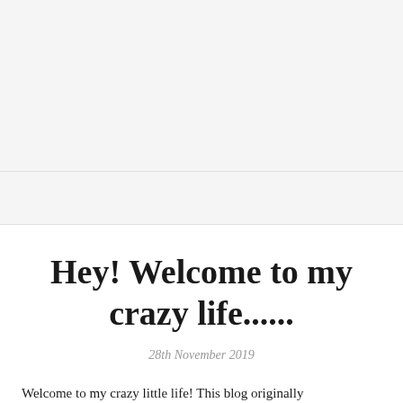Hey! Welcome to my crazy life......
28th November 2019
Welcome to my crazy little life! This blog originally